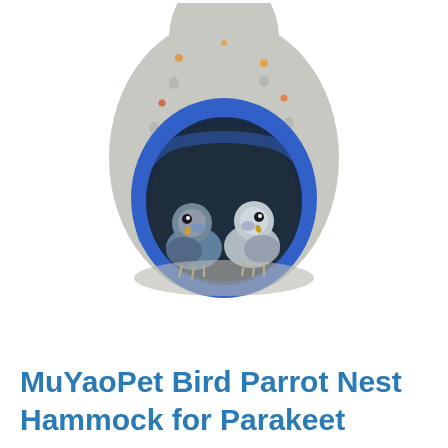[Figure (photo): A gray fuzzy teardrop-shaped bird nest hammock with a bright blue fleece-lined opening, hanging from the top. Two small parakeets (budgerigars) are nestled inside the opening, peeking out. The nest has small colorful dots and holes in the fabric. White background.]
MuYaoPet Bird Parrot Nest Hammock for Parakeet